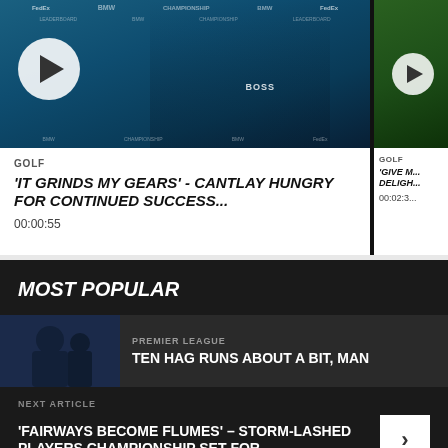[Figure (screenshot): Video thumbnail of a golfer at a BMW Championship press conference with a play button overlay]
GOLF
'IT GRINDS MY GEARS' - CANTLAY HUNGRY FOR CONTINUED SUCCESS...
00:00:55
[Figure (screenshot): Partial video thumbnail showing green outdoor scene with play button]
GOLF
'GIVE M... DELIGH...
00:02:3...
MOST POPULAR
[Figure (photo): Photo of a person (Ten Hag) in dark clothing]
PREMIER LEAGUE
TEN HAG RUNS ABOUT A BIT, MAN
NEXT ARTICLE
'FAIRWAYS BECOME FLUMES' – STORM-LASHED PLAYERS CHAMPIONSHIP SET FOR...